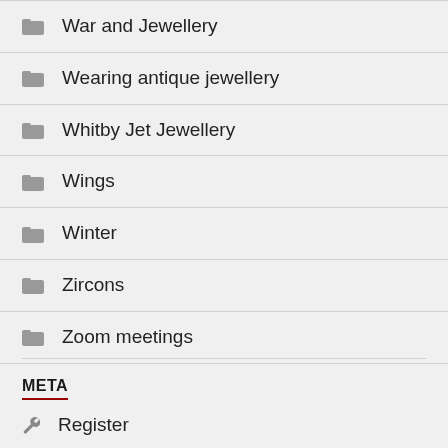War and Jewellery
Wearing antique jewellery
Whitby Jet Jewellery
Wings
Winter
Zircons
Zoom meetings
META
Register